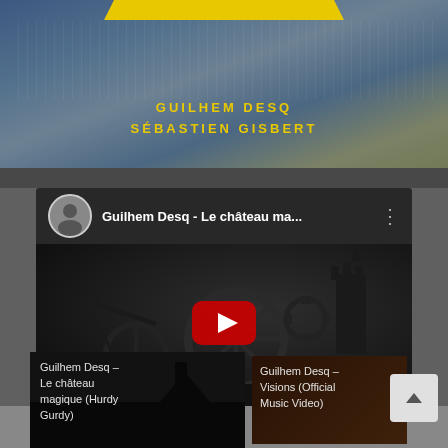[Figure (screenshot): Top banner with blue-grey painterly background, yellow/gold trapezoidal bar at top, text 'GUILHEM DESQ / SÉBASTIEN GISBERT' in yellow bold uppercase letters]
[Figure (screenshot): Embedded YouTube video player showing 'Guilhem Desq - Le château ma...' with dark silhouette thumbnail featuring mechanical wheels and castle shapes, YouTube play button and logo visible]
[Figure (screenshot): Thumbnail for 'Guilhem Desq - Le château magique (Hurdy Gurdy)' video]
[Figure (screenshot): Thumbnail for 'Guilhem Desq - Visions (Official Music Video)' video]